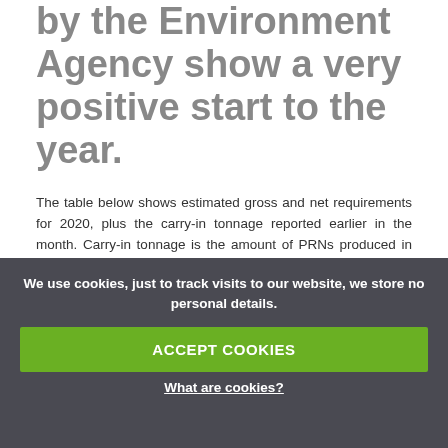by the Environment Agency show a very positive start to the year.
The table below shows estimated gross and net requirements for 2020, plus the carry-in tonnage reported earlier in the month. Carry-in tonnage is the amount of PRNs produced in December 2019 that are issued for 2020 use. The 2020 data indicates that the total amount of carry-in PRNs is greater than in previous years, particularly in paper, aluminium and steel.
You will see from the table below that all materials are performing well against the recycling targets, showing a surplus in all materials.